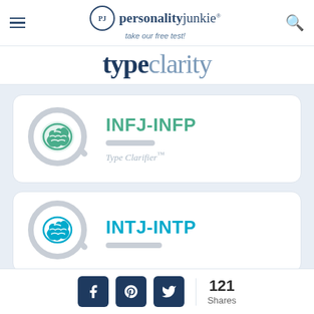personality junkie® — take our free test!
typeclarity
[Figure (logo): INFJ-INFP Type Clarifier card with green brain magnifier icon]
[Figure (logo): INTJ-INTP Type Clarifier card with blue brain magnifier icon]
121 Shares — social share buttons: Facebook, Pinterest, Twitter